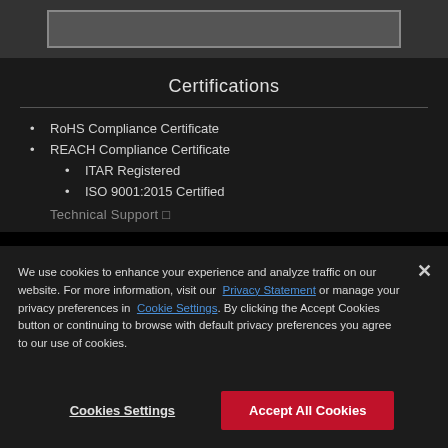Certifications
RoHS Compliance Certificate
REACH Compliance Certificate
ITAR Registered
ISO 9001:2015 Certified
Technical Support
We use cookies to enhance your experience and analyze traffic on our website. For more information, visit our Privacy Statement or manage your privacy preferences in Cookie Settings. By clicking the Accept Cookies button or continuing to browse with default privacy preferences you agree to our use of cookies.
Cookies Settings
Accept All Cookies